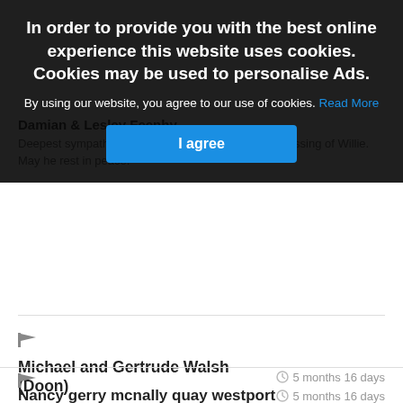[Figure (screenshot): Cookie consent overlay dialog with dark semi-transparent background. Contains bold white heading 'In order to provide you with the best online experience this website uses cookies. Cookies may be used to personalise Ads.' followed by text 'By using our website, you agree to our use of cookies.' with a blue 'Read More' link, and a blue 'I agree' button.]
Damian & Lesley Feenhy
Deepest sympathies to the Browne families on the passing of Willie. May he rest in peace.
🏴
Michael and Gertrude Walsh (Doon)
5 months 16 days
Sincere sympathy to the Browne family on the passing of Willie.

May he rest in peace
🏴
Nancy gerry mcnally quay westport
5 months 16 days